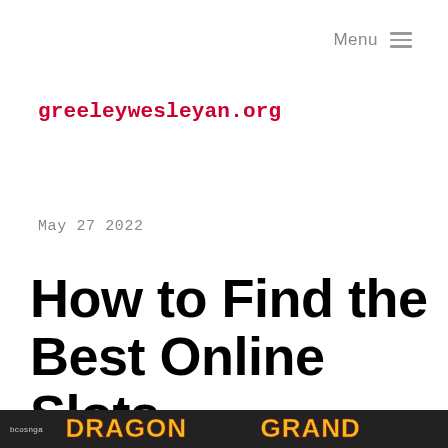Menu ≡
greeleywesleyan.org
May 27 2022
How to Find the Best Online Slots
[Figure (photo): Bottom banner image showing 'bconga' logo and Dragon Grand game header with dark background]